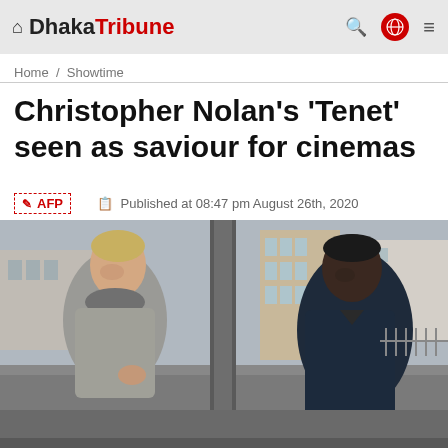Dhaka Tribune
Home / Showtime
Christopher Nolan's 'Tenet' seen as saviour for cinemas
AFP  Published at 08:47 pm August 26th, 2020
[Figure (photo): Two actors from the film Tenet standing on a street in an urban setting. A white man in a grey suit with a scarf on the left, a Black man in a dark navy suit on the right, with a large pillar between them and modern buildings in the background.]